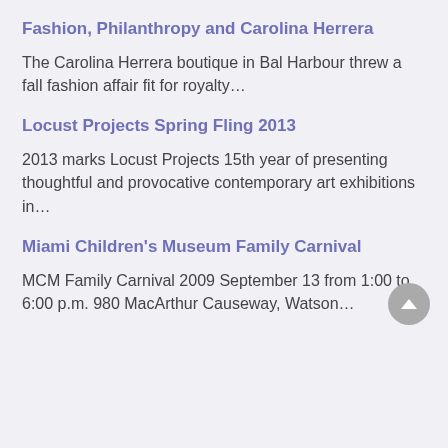Fashion, Philanthropy and Carolina Herrera
The Carolina Herrera boutique in Bal Harbour threw a fall fashion affair fit for royalty…
Locust Projects Spring Fling 2013
2013 marks Locust Projects 15th year of presenting thoughtful and provocative contemporary art exhibitions in…
Miami Children's Museum Family Carnival
MCM Family Carnival 2009 September 13 from 1:00 to 6:00 p.m. 980 MacArthur Causeway, Watson…